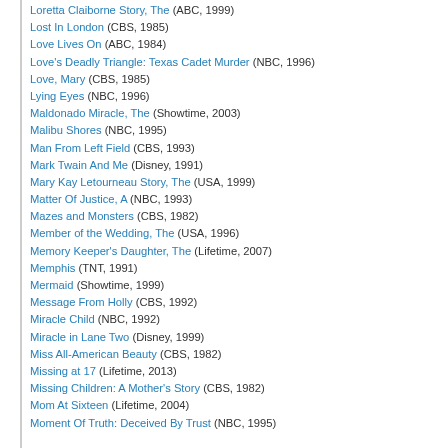Loretta Claiborne Story, The (ABC, 1999)
Lost In London (CBS, 1985)
Love Lives On (ABC, 1984)
Love's Deadly Triangle: Texas Cadet Murder (NBC, 1996)
Love, Mary (CBS, 1985)
Lying Eyes (NBC, 1996)
Maldonado Miracle, The (Showtime, 2003)
Malibu Shores (NBC, 1995)
Man From Left Field (CBS, 1993)
Mark Twain And Me (Disney, 1991)
Mary Kay Letourneau Story, The (USA, 1999)
Matter Of Justice, A (NBC, 1993)
Mazes and Monsters (CBS, 1982)
Member of the Wedding, The (USA, 1996)
Memory Keeper's Daughter, The (Lifetime, 2007)
Memphis (TNT, 1991)
Mermaid (Showtime, 1999)
Message From Holly (CBS, 1992)
Miracle Child (NBC, 1992)
Miracle in Lane Two (Disney, 1999)
Miss All-American Beauty (CBS, 1982)
Missing at 17 (Lifetime, 2013)
Missing Children: A Mother's Story (CBS, 1982)
Mom At Sixteen (Lifetime, 2004)
Moment Of Truth: Deceived By Trust (NBC, 1995)